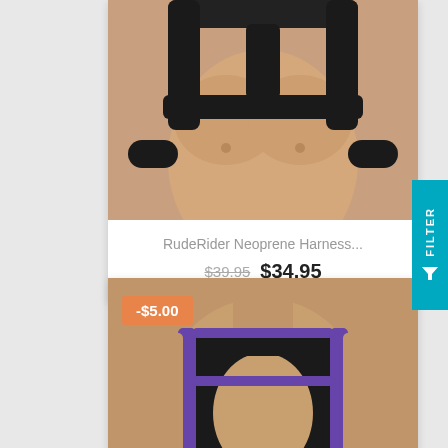[Figure (photo): Product card showing a model wearing a black neoprene harness on bare chest and torso, cropped at top]
RudeRider Neoprene Harness...
$39.95 $34.95
[Figure (photo): Product card showing a model wearing a black and purple neoprene harness, with an orange discount badge reading -$5.00]